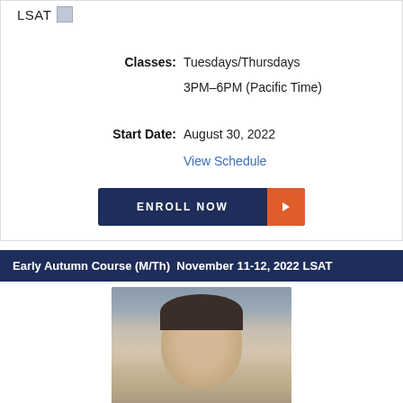LSAT
Classes: Tuesdays/Thursdays 3PM–6PM (Pacific Time)
Start Date: August 30, 2022
View Schedule
ENROLL NOW
Early Autumn Course (M/Th)  November 11-12, 2022 LSAT
[Figure (photo): Headshot of a smiling male instructor with short dark hair against a gray background]